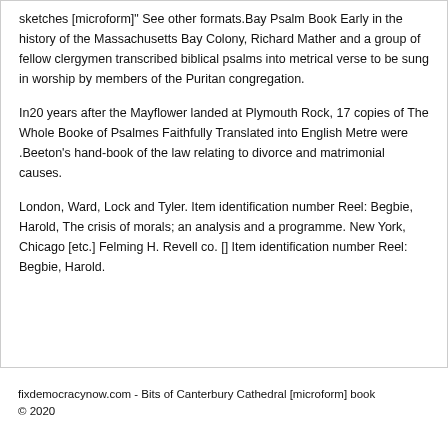sketches [microform]" See other formats.Bay Psalm Book Early in the history of the Massachusetts Bay Colony, Richard Mather and a group of fellow clergymen transcribed biblical psalms into metrical verse to be sung in worship by members of the Puritan congregation.
In20 years after the Mayflower landed at Plymouth Rock, 17 copies of The Whole Booke of Psalmes Faithfully Translated into English Metre were .Beeton's hand-book of the law relating to divorce and matrimonial causes.
London, Ward, Lock and Tyler. Item identification number Reel: Begbie, Harold, The crisis of morals; an analysis and a programme. New York, Chicago [etc.] Felming H. Revell co. [] Item identification number Reel: Begbie, Harold.
fixdemocracynow.com - Bits of Canterbury Cathedral [microform] book © 2020